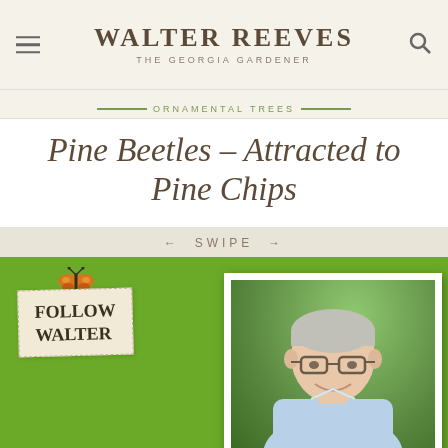WALTER REEVES THE GEORGIA GARDENER
ORNAMENTAL TREES
Pine Beetles – Attracted to Pine Chips
← SWIPE →
[Figure (screenshot): Follow Walter section with green background, butterfly, torn paper badge reading FOLLOW WALTER, and photo of a smiling middle-aged man with gray hair and glasses in a garden setting]